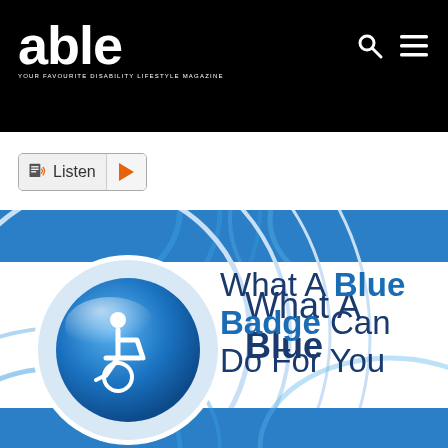able — YOUR FAVOURITE DISABILITY LIFESTYLE MAGAZINE
[Figure (screenshot): Listen button with speaker icon and orange play triangle]
[Figure (infographic): Blue Badge infographic banner showing wheelchair accessibility icon in a blue glossy button, with text 'What A Blue Badge Can Do For You' on a blue swirl background]